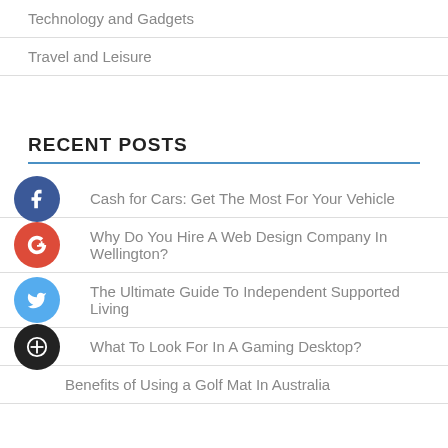Travel and Leisure
RECENT POSTS
Cash for Cars: Get The Most For Your Vehicle
Why Do You Hire A Web Design Company In Wellington?
The Ultimate Guide To Independent Supported Living
What To Look For In A Gaming Desktop?
Benefits of Using a Golf Mat In Australia